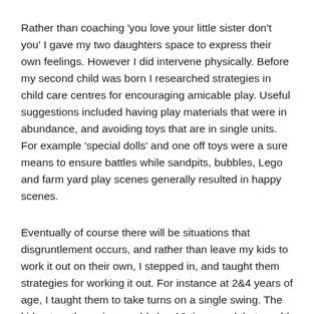Rather than coaching 'you love your little sister don't you' I gave my two daughters space to express their own feelings. However I did intervene physically. Before my second child was born I researched strategies in child care centres for encouraging amicable play. Useful suggestions included having play materials that were in abundance, and avoiding toys that are in single units. For example 'special dolls' and one off toys were a sure means to ensure battles while sandpits, bubbles, Lego and farm yard play scenes generally resulted in happy scenes.
Eventually of course there will be situations that disgruntlement occurs, and rather than leave my kids to work it out on their own, I stepped in, and taught them strategies for working it out. For instance at 2&4 years of age, I taught them to take turns on a single swing. The kid not on the swing would clap 10 times and that would indicate the length of the turn on the swing, and that it was time to change. I